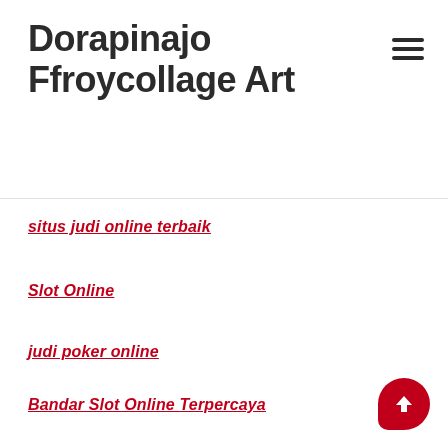Dorapinajo Ffroycollage Art
situs judi online terbaik
Slot Online
judi poker online
Bandar Slot Online Terpercaya
situs judi online
slot88